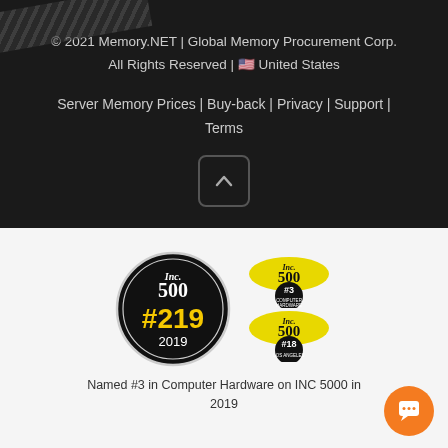[Figure (illustration): Diagonal stripe pattern in top-left corner of dark section]
© 2021 Memory.NET | Global Memory Procurement Corp. All Rights Reserved | 🇺🇸 United States
Server Memory Prices | Buy-back | Privacy | Support | Terms
[Figure (illustration): Scroll-to-top button with caret/chevron up icon]
[Figure (illustration): Inc. 500 badges: #219 2019 (large circular badge), #3 Computer Hardware (small yellow badge), #18 Los Angeles (small yellow badge)]
Named #3 in Computer Hardware on INC 5000 in 2019